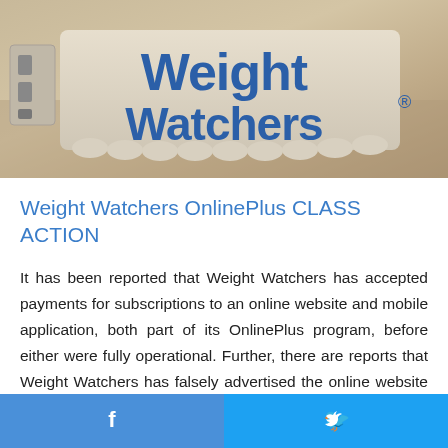[Figure (photo): Weight Watchers branded sign/logo mounted on a wall, showing 'Weight Watchers' text in blue letters on a white sculpted sign against a beige/tan background]
Weight Watchers OnlinePlus CLASS ACTION
It has been reported that Weight Watchers has accepted payments for subscriptions to an online website and mobile application, both part of its OnlinePlus program, before either were fully operational. Further, there are reports that Weight Watchers has falsely advertised the online website and mobile application and has been able to sell and profit from subscriptions using deception that the online website
Facebook share | Twitter share